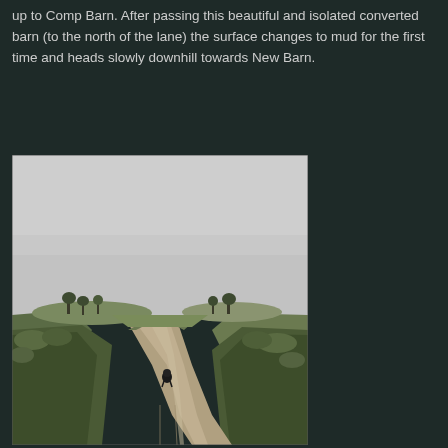up to Comp Barn. After passing this beautiful and isolated converted barn (to the north of the lane) the surface changes to mud for the first time and heads slowly downhill towards New Barn.
[Figure (photo): A dirt track/muddy lane winding through green fields under an overcast grey sky. A small dark dog or figure is visible in the middle distance on the path. Hedgerows and vegetation line both sides of the lane, with rolling hills and trees visible in the background.]